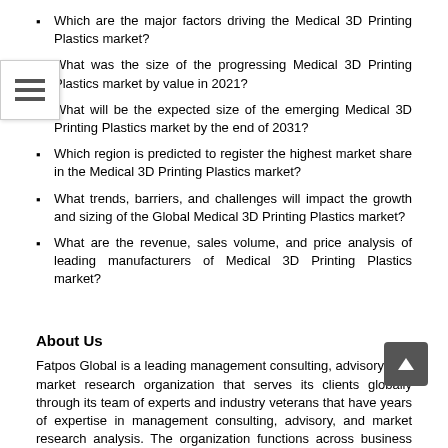Which are the major factors driving the Medical 3D Printing Plastics market?
What was the size of the progressing Medical 3D Printing Plastics market by value in 2021?
What will be the expected size of the emerging Medical 3D Printing Plastics market by the end of 2031?
Which region is predicted to register the highest market share in the Medical 3D Printing Plastics market?
What trends, barriers, and challenges will impact the growth and sizing of the Global Medical 3D Printing Plastics market?
What are the revenue, sales volume, and price analysis of leading manufacturers of Medical 3D Printing Plastics market?
About Us
Fatpos Global is a leading management consulting, advisory, and market research organization that serves its clients globally through its team of experts and industry veterans that have years of expertise in management consulting, advisory, and market research analysis. The organization functions across business consulting, strategy